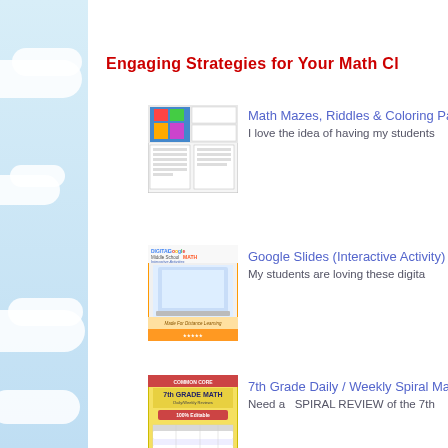Engaging Strategies for Your Math Cl…
[Figure (illustration): Thumbnail of Math Mazes Riddles and Coloring Pages product]
Math Mazes, Riddles & Coloring Page… I love the idea of having my students…
[Figure (illustration): Thumbnail of Digital Google Middle School MATH Interactive Activities product]
Google Slides (Interactive Activity) My students are loving these digita…
[Figure (illustration): Thumbnail of 7th Grade Daily Weekly Spiral Math Review product]
7th Grade Daily / Weekly Spiral Mat… Need a SPIRAL REVIEW of the 7th…